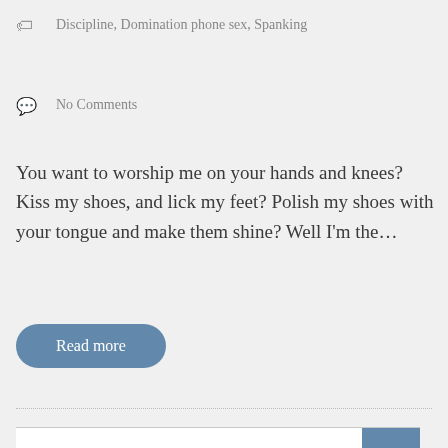Discipline, Domination phone sex, Spanking
No Comments
You want to worship me on your hands and knees? Kiss my shoes, and lick my feet? Polish my shoes with your tongue and make them shine? Well I’m the…
Read more
« Previous